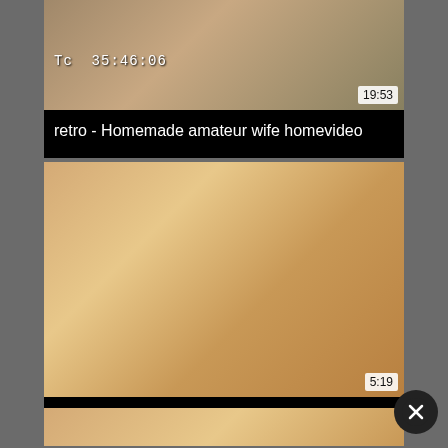[Figure (screenshot): Video thumbnail for 'retro - Homemade amateur wife homevideo', showing timecode Tc 35:46:06, duration badge 19:53]
retro - Homemade amateur wife homevideo
[Figure (screenshot): Video thumbnail placeholder with golden/orange gradient background, duration badge 5:19]
Dirty shots
[Figure (screenshot): Partial video thumbnail visible at bottom of page with warm gradient]